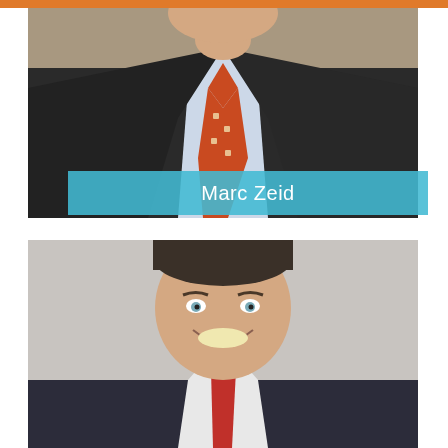[Figure (photo): Professional headshot of Marc Zeid, a man in a dark pinstripe suit with light blue shirt and orange patterned tie, cropped from shoulders up, on neutral background]
Marc Zeid
[Figure (photo): Professional headshot of a smiling man with short dark/gray hair, wearing a red/orange tie, on gray background]